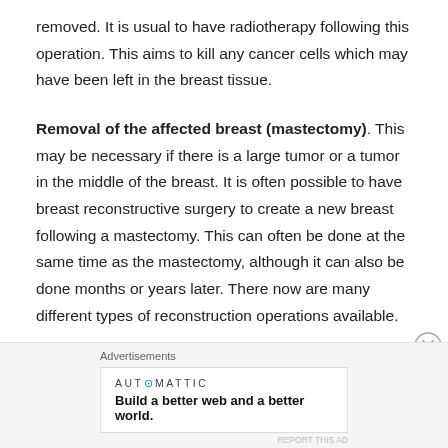removed. It is usual to have radiotherapy following this operation. This aims to kill any cancer cells which may have been left in the breast tissue.
Removal of the affected breast (mastectomy). This may be necessary if there is a large tumor or a tumor in the middle of the breast. It is often possible to have breast reconstructive surgery to create a new breast following a mastectomy. This can often be done at the same time as the mastectomy, although it can also be done months or years later. There now are many different types of reconstruction operations available.
Advertisements
AUTOMATTIC
Build a better web and a better world.